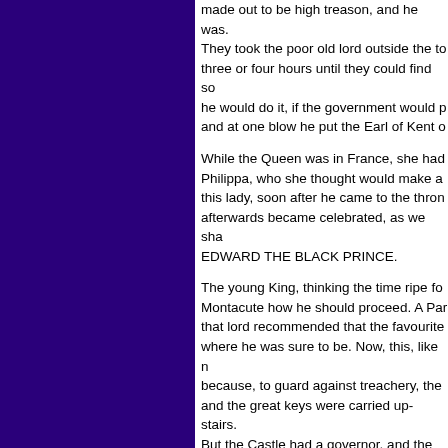made out to be high treason, and he was. They took the poor old lord outside the to three or four hours until they could find so he would do it, if the government would p and at one blow he put the Earl of Kent o
While the Queen was in France, she had Philippa, who she thought would make a this lady, soon after he came to the thron afterwards became celebrated, as we sha EDWARD THE BLACK PRINCE.
The young King, thinking the time ripe fo Montacute how he should proceed. A Par that lord recommended that the favourite where he was sure to be. Now, this, like n because, to guard against treachery, the and the great keys were carried up-stairs. But the Castle had a governor, and the ge him how he knew of a secret passage un and brambles with which it was overgrow might enter in the dead of the night, and g certain dark night, at midnight, they made rats, and frightening the owls and bats: an the Castle, where the King met them, and deep silence. They soon heard the voice bursting into the room with a sudden nois bed- chamber, 'Oh, my sweet son, my de off, however; and, before the next Parlian between the young King and his mother.